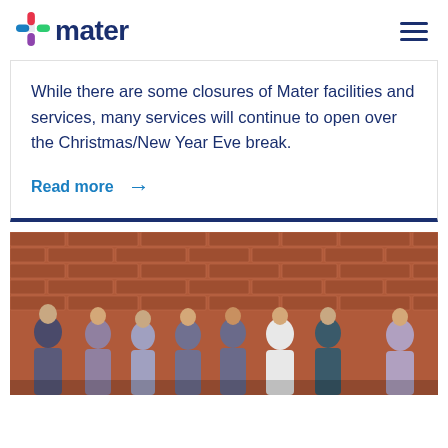[Figure (logo): Mater logo with multicolor plus sign and dark blue 'mater' text]
While there are some closures of Mater facilities and services, many services will continue to open over the Christmas/New Year Eve break.
Read more →
[Figure (photo): Group of eight people standing in front of a brick wall]